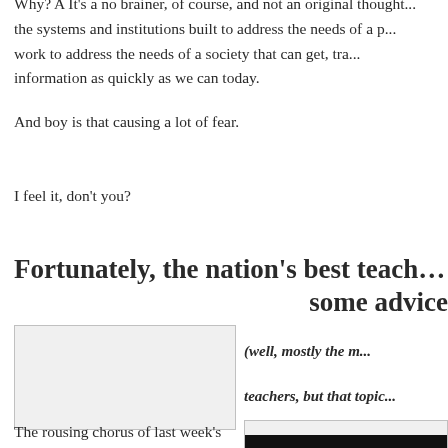Why? A It's a no brainer, of course, and not an original thought... the systems and institutions built to address the needs of a p... work to address the needs of a society that can get, tra... information as quickly as we can today.
And boy is that causing a lot of fear.
I feel it, don't you?
Fortunately, the nation's best teach... some advice
[Figure (photo): A rectangular image placeholder with light gray background and border]
(well, mostly the m... teachers, but that topic...
The rousing chorus of last week's
[Figure (photo): Partial image visible at bottom right, dark/black bar visible]